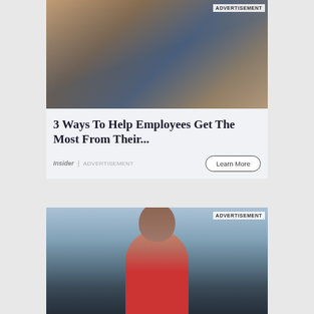[Figure (photo): Two women in a professional setting, one with curly dark hair and gold earrings, the other with long dark hair wearing a blazer, appearing to consult over a tablet]
ADVERTISEMENT
3 Ways To Help Employees Get The Most From Their...
Insider | ADVERTISEMENT
Learn More
[Figure (photo): Man with short curly hair wearing a red hoodie, eyes closed, appearing to meditate or rest outdoors near water]
ADVERTISEMENT